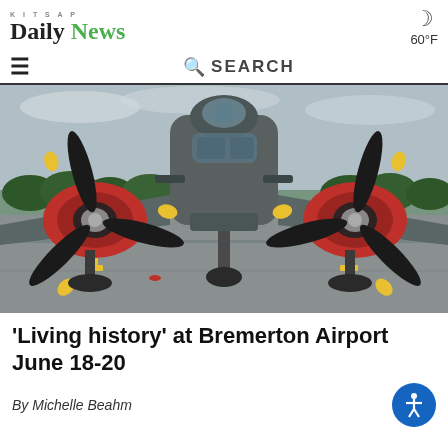KITSAP Daily News — 60°F
[Figure (screenshot): Navigation bar with hamburger menu and SEARCH field]
[Figure (photo): Front-facing view of a vintage World War II era B-25 Mitchell bomber aircraft on a tarmac runway, showing two large radial engines with red cowlings and black propellers with yellow tips, nose gunner position, overcast sky, trees in background]
'Living history' at Bremerton Airport June 18-20
By Michelle Beahm